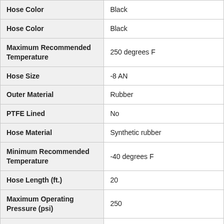| Property | Value |
| --- | --- |
| Hose Color | Black |
| Hose Color | Black |
| Maximum Recommended Temperature | 250 degrees F |
| Hose Size | -8 AN |
| Outer Material | Rubber |
| PTFE Lined | No |
| Hose Material | Synthetic rubber |
| Minimum Recommended Temperature | -40 degrees F |
| Hose Length (ft.) | 20 |
| Maximum Operating Pressure (psi) | 250 |
| Hose Inside Diameter | 0.500 in (12.7 mm) |
| Hose Outside Diameter | 0.750 in (19.1 mm) |